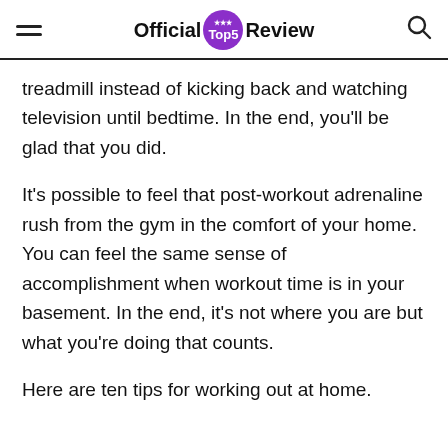Official Top5 Review
treadmill instead of kicking back and watching television until bedtime. In the end, you'll be glad that you did.
It's possible to feel that post-workout adrenaline rush from the gym in the comfort of your home. You can feel the same sense of accomplishment when workout time is in your basement. In the end, it's not where you are but what you're doing that counts.
Here are ten tips for working out at home.